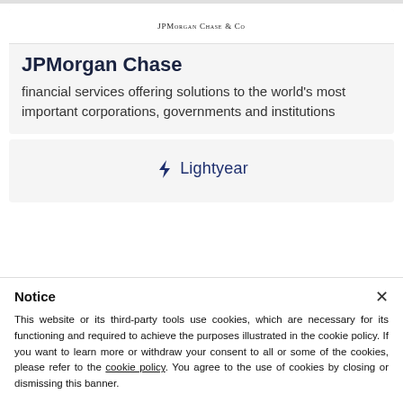[Figure (logo): JPMorgan Chase & Co logo in small caps serif font]
JPMorgan Chase
financial services offering solutions to the world's most important corporations, governments and institutions
[Figure (logo): Lightyear logo with lightning bolt icon and text Lightyear in dark blue]
Notice
This website or its third-party tools use cookies, which are necessary for its functioning and required to achieve the purposes illustrated in the cookie policy. If you want to learn more or withdraw your consent to all or some of the cookies, please refer to the cookie policy. You agree to the use of cookies by closing or dismissing this banner.